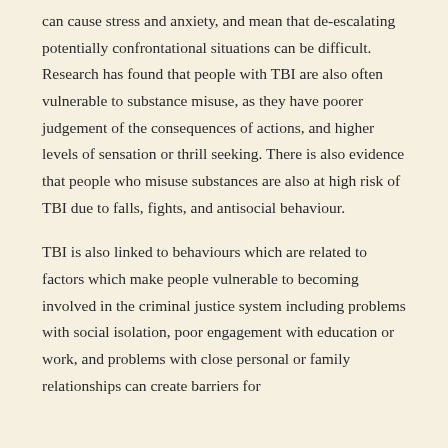can cause stress and anxiety, and mean that de-escalating potentially confrontational situations can be difficult.  Research has found that people with TBI are also often vulnerable to substance misuse, as they have poorer judgement of the consequences of actions, and higher levels of sensation or thrill seeking. There is also evidence that people who misuse substances are also at high risk of TBI due to falls, fights, and antisocial behaviour.
TBI is also linked to behaviours which are related to factors which make people vulnerable to becoming involved in the criminal justice system including problems with social isolation, poor engagement with education or work, and problems with close personal or family relationships can create barriers for